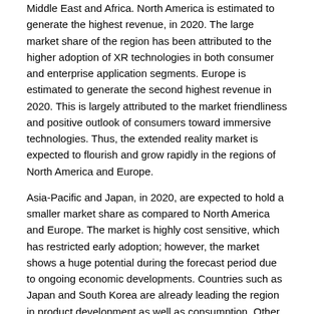Middle East and Africa. North America is estimated to generate the highest revenue, in 2020. The large market share of the region has been attributed to the higher adoption of XR technologies in both consumer and enterprise application segments. Europe is estimated to generate the second highest revenue in 2020. This is largely attributed to the market friendliness and positive outlook of consumers toward immersive technologies. Thus, the extended reality market is expected to flourish and grow rapidly in the regions of North America and Europe.
Asia-Pacific and Japan, in 2020, are expected to hold a smaller market share as compared to North America and Europe. The market is highly cost sensitive, which has restricted early adoption; however, the market shows a huge potential during the forecast period due to ongoing economic developments. Countries such as Japan and South Korea are already leading the region in product development as well as consumption. Other developing countries, such as India and the ASEAN countries, have a huge potential to become important markets for extended reality.
Key Questions Answered in this Report :
What is the expected extended reality market size during the forecast period, 2020-2025?
What is the expected future scenario and revenue generated by